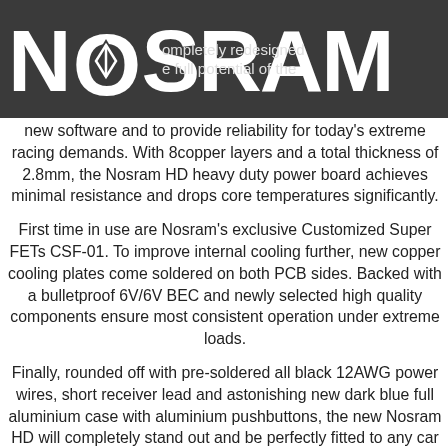[Figure (logo): NOSRAM logo in white bold text on dark grey background, with a diamond/arrow emblem inside the letter O]
The ESC has been completely redesigned power the full potential of the new software and to provide reliability for today's extreme racing demands. With 8copper layers and a total thickness of 2.8mm, the Nosram HD heavy duty power board achieves minimal resistance and drops core temperatures significantly.
First time in use are Nosram's exclusive Customized Super FETs CSF-01. To improve internal cooling further, new copper cooling plates come soldered on both PCB sides. Backed with a bulletproof 6V/6V BEC and newly selected high quality components ensure most consistent operation under extreme loads.
Finally, rounded off with pre-soldered all black 12AWG power wires, short receiver lead and astonishing new dark blue full aluminium case with aluminium pushbuttons, the new Nosram HD will completely stand out and be perfectly fitted to any car